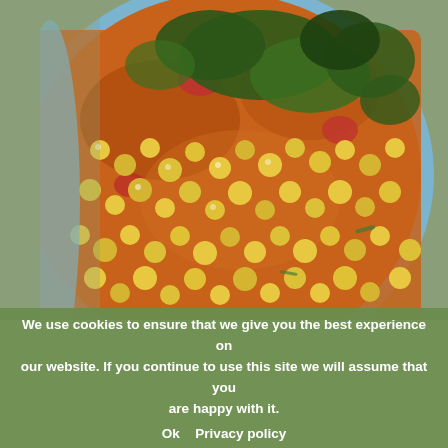[Figure (photo): Close-up photo of a bowl of Indian dal (lentil soup) with yellow lentils and green kale/spinach in an orange-brown broth, served in a blue bowl.]
We use cookies to ensure that we give you the best experience on our website. If you continue to use this site we will assume that you are happy with it.  Ok   Privacy policy